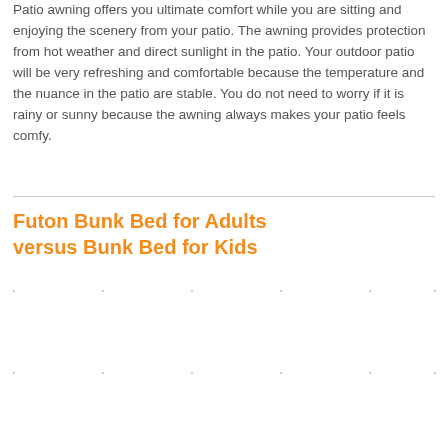Patio awning offers you ultimate comfort while you are sitting and enjoying the scenery from your patio. The awning provides protection from hot weather and direct sunlight in the patio. Your outdoor patio will be very refreshing and comfortable because the temperature and the nuance in the patio are stable. You do not need to worry if it is rainy or sunny because the awning always makes your patio feels comfy.
Futon Bunk Bed for Adults versus Bunk Bed for Kids
[Figure (other): Dotted grid/table placeholder area below the section header, showing faint dot markers at grid intersections]